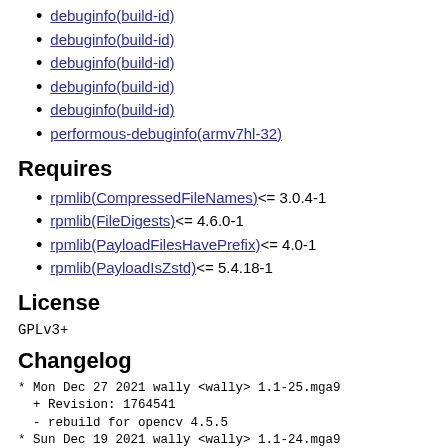debuginfo(build-id)
debuginfo(build-id)
debuginfo(build-id)
debuginfo(build-id)
debuginfo(build-id)
performous-debuginfo(armv7hl-32)
Requires
rpmlib(CompressedFileNames) <= 3.0.4-1
rpmlib(FileDigests) <= 4.6.0-1
rpmlib(PayloadFilesHavePrefix) <= 4.0-1
rpmlib(PayloadIsZstd) <= 5.4.18-1
License
GPLv3+
Changelog
* Mon Dec 27 2021 wally <wally> 1.1-25.mga9
  + Revision: 1764541
  - rebuild for opencv 4.5.5
* Sun Dec 19 2021 wally <wally> 1.1-24.mga9
  + Revision: 1762641